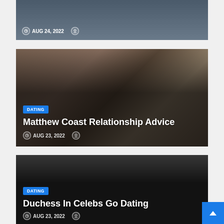[Figure (photo): Partial article card showing date AUG 24, 2022 at the bottom on a dark background]
[Figure (photo): Article card with image of two women in a counseling session, category badge DATING, title Matthew Coast Relationship Advice, dated AUG 23, 2022]
Matthew Coast Relationship Advice
AUG 23, 2022
[Figure (photo): Article card with dark background, category badge DATING, title Duchess In Celebs Go Dating, partially visible date AUG 23, 2022]
Duchess In Celebs Go Dating